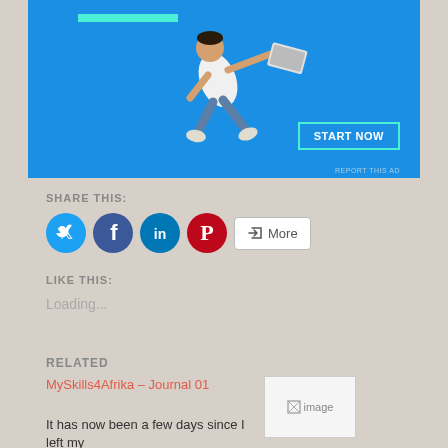[Figure (photo): Advertisement banner with blue background showing a person flying/diving horizontally holding a laptop, with a teal 'START NOW' button and a teal bar at top]
SHARE THIS:
[Figure (infographic): Social sharing buttons: Twitter (blue circle), Facebook (dark blue circle), LinkedIn (teal circle), Pinterest (red circle), and a More button]
LIKE THIS:
Loading...
RELATED
MySkills4Afrika – Journal 01
It has now been a few days since I left my
[Figure (photo): Related article thumbnail image placeholder]